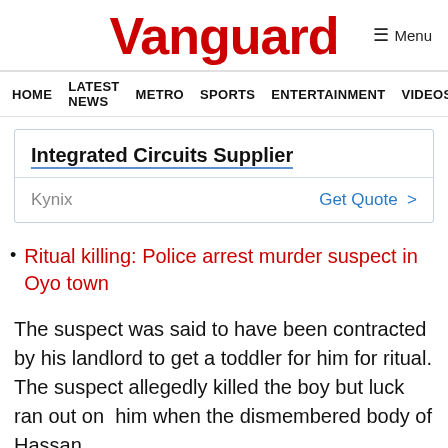Vanguard
HOME  LATEST NEWS  METRO  SPORTS  ENTERTAINMENT  VIDEOS
[Figure (other): Advertisement box for Integrated Circuits Supplier - Kynix with Get Quote link]
Ritual killing: Police arrest murder suspect in Oyo town
The suspect was said to have been contracted by his landlord to get a toddler for him for ritual. The suspect allegedly killed the boy but luck ran out on him when the dismembered body of Hassan